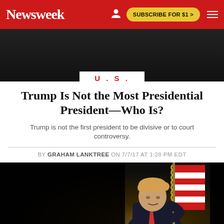Newsweek | SUBSCRIBE FOR $1 >
[Figure (photo): Dark background photo, top portion of article hero image]
U.S.
Trump Is Not the Most Presidential President—Who Is?
Trump is not the first president to be divisive or to court controversy.
BY GRAHAM LANKTREE ON 7/7/17 AT 1:28 PM EDT
[Figure (photo): Photo of Donald Trump hugging an American flag on a dark background]